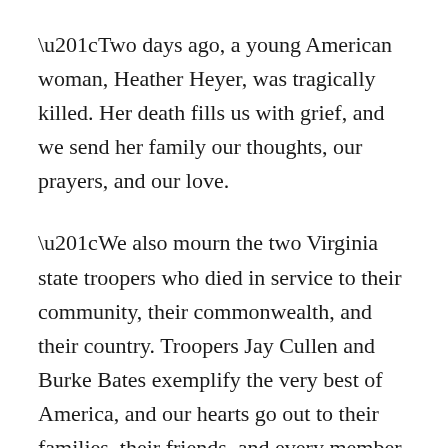“Two days ago, a young American woman, Heather Heyer, was tragically killed. Her death fills us with grief, and we send her family our thoughts, our prayers, and our love.
“We also mourn the two Virginia state troopers who died in service to their community, their commonwealth, and their country. Troopers Jay Cullen and Burke Bates exemplify the very best of America, and our hearts go out to their families, their friends, and every member of American law enforcement.